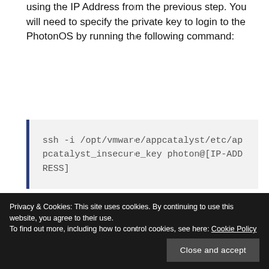using the IP Address from the previous step. You will need to specify the private key to login to the PhotonOS by running the following command:
ssh -i /opt/vmware/appcatalyst/etc/appcatalyst_insecure_key photon@[IP-ADDRESS]
Privacy & Cookies: This site uses cookies. By continuing to use this website, you agree to their use.
To find out more, including how to control cookies, see here: Cookie Policy